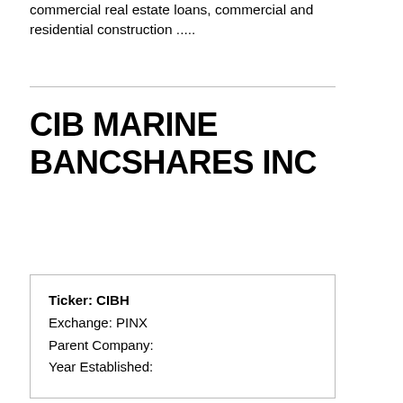commercial real estate loans, commercial and residential construction .....
CIB MARINE BANCSHARES INC
| Ticker: | CIBH |
| Exchange: | PINX |
| Parent Company: |  |
| Year Established: |  |